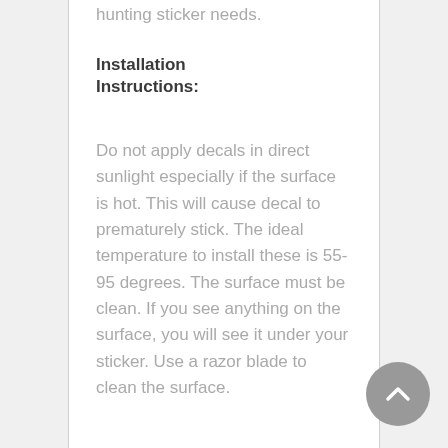hunting sticker needs.
Installation Instructions:
Do not apply decals in direct sunlight especially if the surface is hot. This will cause decal to prematurely stick. The ideal temperature to install these is 55-95 degrees. The surface must be clean. If you see anything on the surface, you will see it under your sticker. Use a razor blade to clean the surface.